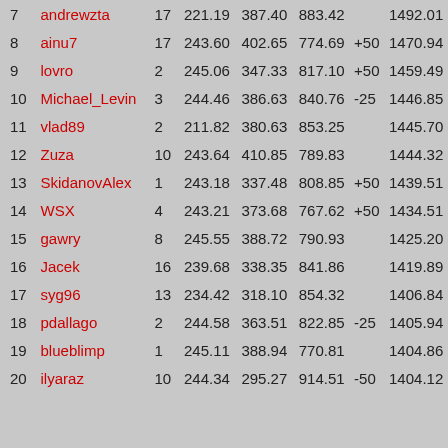| # | Name | n | col1 | col2 | col3 | bonus | total |
| --- | --- | --- | --- | --- | --- | --- | --- |
| 7 | andrewzta | 17 | 221.19 | 387.40 | 883.42 |  | 1492.01 |
| 8 | ainu7 | 17 | 243.60 | 402.65 | 774.69 | +50 | 1470.94 |
| 9 | lovro | 2 | 245.06 | 347.33 | 817.10 | +50 | 1459.49 |
| 10 | Michael_Levin | 3 | 244.46 | 386.63 | 840.76 | -25 | 1446.85 |
| 11 | vlad89 | 2 | 211.82 | 380.63 | 853.25 |  | 1445.70 |
| 12 | Zuza | 10 | 243.64 | 410.85 | 789.83 |  | 1444.32 |
| 13 | SkidanovAlex | 1 | 243.18 | 337.48 | 808.85 | +50 | 1439.51 |
| 14 | WSX | 4 | 243.21 | 373.68 | 767.62 | +50 | 1434.51 |
| 15 | gawry | 8 | 245.55 | 388.72 | 790.93 |  | 1425.20 |
| 16 | Jacek | 16 | 239.68 | 338.35 | 841.86 |  | 1419.89 |
| 17 | syg96 | 13 | 234.42 | 318.10 | 854.32 |  | 1406.84 |
| 18 | pdallago | 2 | 244.58 | 363.51 | 822.85 | -25 | 1405.94 |
| 19 | blueblimp | 1 | 245.11 | 388.94 | 770.81 |  | 1404.86 |
| 20 | ilyaraz | 10 | 244.34 | 295.27 | 914.51 | -50 | 1404.12 |